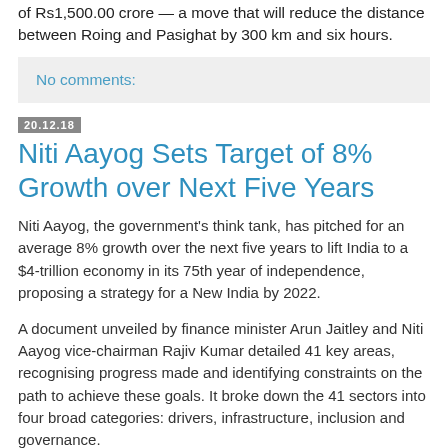of Rs1,500.00 crore — a move that will reduce the distance between Roing and Pasighat by 300 km and six hours.
No comments:
20.12.18
Niti Aayog Sets Target of 8% Growth over Next Five Years
Niti Aayog, the government's think tank, has pitched for an average 8% growth over the next five years to lift India to a $4-trillion economy in its 75th year of independence, proposing a strategy for a New India by 2022.
A document unveiled by finance minister Arun Jaitley and Niti Aayog vice-chairman Rajiv Kumar detailed 41 key areas, recognising progress made and identifying constraints on the path to achieve these goals. It broke down the 41 sectors into four broad categories: drivers, infrastructure, inclusion and governance.